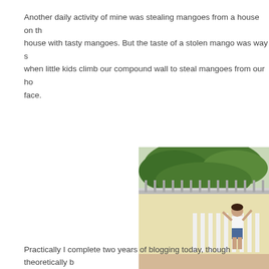Another daily activity of mine was stealing mangoes from a house on th... house with tasty mangoes. But the taste of a stolen mango was way s... when little kids climb our compound wall to steal mangoes from our ho... face.
[Figure (photo): Children climbing over a compound wall, reaching up toward a mango tree visible above a white fence/railing. A taller child stands on the wall while smaller children stand below.]
Practically I complete two years of blogging today, though theoretically b...